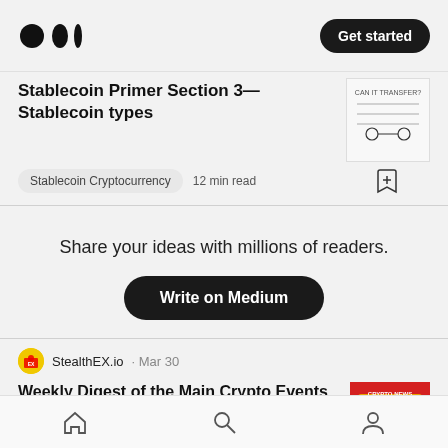Medium logo | Get started
Stablecoin Primer Section 3— Stablecoin types
Stablecoin Cryptocurrency  12 min read
Share your ideas with millions of readers.
Write on Medium
StealthEX.io · Mar 30
Weekly Digest of the Main Crypto Events — March 30, 2022
Cryptocurrency News  8 min read
Home | Search | Profile